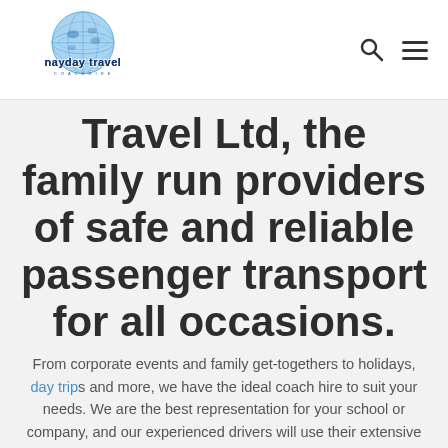[Figure (logo): Mayday Travel logo with globe and stylized text]
Travel Ltd, the family run providers of safe and reliable passenger transport for all occasions.
From corporate events and family get-togethers to holidays, day trips and more, we have the ideal coach hire to suit your needs. We are the best representation for your school or company, and our experienced drivers will use their extensive local